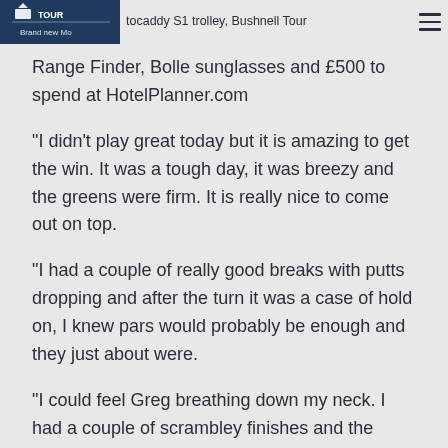Brand new Motocaddy S1 trolley, Bushnell Tour Range Finder, Bolle sunglasses and £500 to spend at HotelPlanner.com
“I didn’t play great today but it is amazing to get the win. It was a tough day, it was breezy and the greens were firm. It is really nice to come out on top.
“I had a couple of really good breaks with putts dropping and after the turn it was a case of hold on, I knew pars would probably be enough and they just about were.
“I could feel Greg breathing down my neck. I had a couple of scrambley finishes and the putter was